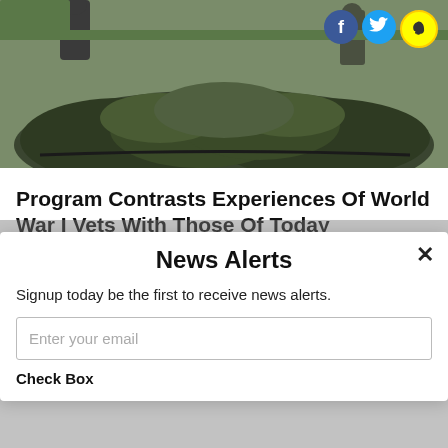[Figure (photo): Outdoor photo showing a military/veterans memorial statue or monument with foliage/wreaths, social media icons (Facebook, Twitter, Snapchat) in top right corner]
Program Contrasts Experiences Of World War I Vets With Those Of Today
June 15, 2017
Dover – Richard Claynoole, Vietnam veteran and former
News Alerts
Signup today be the first to receive news alerts.
Enter your email
Check Box